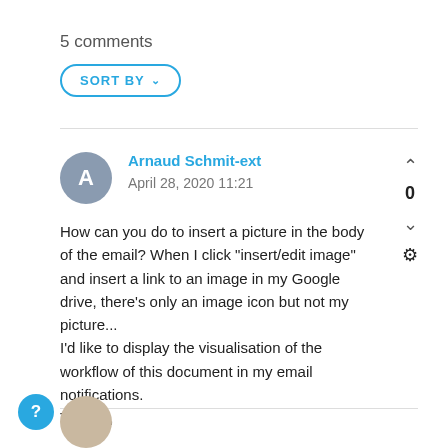5 comments
SORT BY ∨
Arnaud Schmit-ext
April 28, 2020 11:21
How can you do to insert a picture in the body of the email? When I click "insert/edit image" and insert a link to an image in my Google drive, there's only an image icon but not my picture...
I'd like to display the visualisation of the workflow of this document in my email notifications.
Thanks,